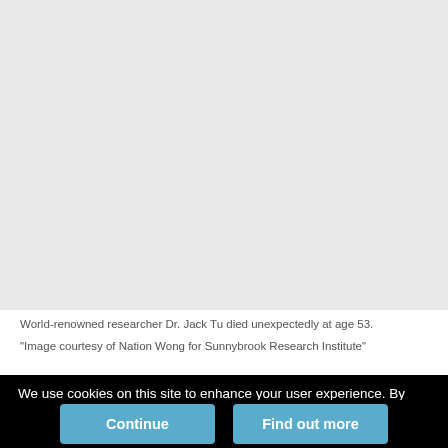[Figure (photo): Large photograph area showing world-renowned researcher Dr. Jack Tu. Image courtesy of Nation Wong for Sunnybrook Research Institute.]
World-renowned researcher Dr. Jack Tu died unexpectedly at age 53.
“Image courtesy of Nation Wong for Sunnybrook Research Institute”
We use cookies on this site to enhance your user experience. By clicking any link on this page you are giving your consent for us to set cookies.
Continue | Find out more